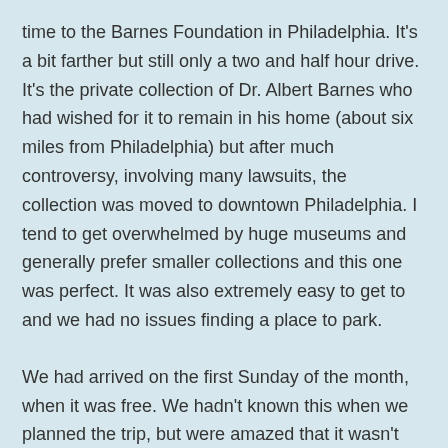time to the Barnes Foundation in Philadelphia. It's a bit farther but still only a two and half hour drive. It's the private collection of Dr. Albert Barnes who had wished for it to remain in his home (about six miles from Philadelphia) but after much controversy, involving many lawsuits, the collection was moved to downtown Philadelphia. I tend to get overwhelmed by huge museums and generally prefer smaller collections and this one was perfect. It was also extremely easy to get to and we had no issues finding a place to park.
We had arrived on the first Sunday of the month, when it was free. We hadn't known this when we planned the trip, but were amazed that it wasn't crowded. When we first went in I was disappointed to learn that none of the paintings had descriptions next to them. Instead you had to use an app on your phone. Aim at the picture and then the description